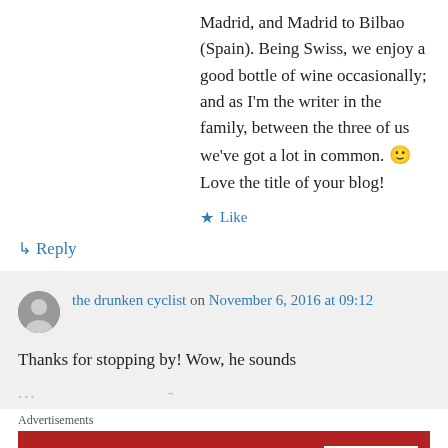Madrid, and Madrid to Bilbao (Spain). Being Swiss, we enjoy a good bottle of wine occasionally; and as I'm the writer in the family, between the three of us we've got a lot in common. 🙂 Love the title of your blog!
★ Like
↳ Reply
the drunken cyclist on November 6, 2016 at 09:12
Thanks for stopping by! Wow, he sounds ...
Advertisements
[Figure (photo): Macy's ad banner: KISS BORING LIPS GOODBYE with SHOP NOW button and macys logo]